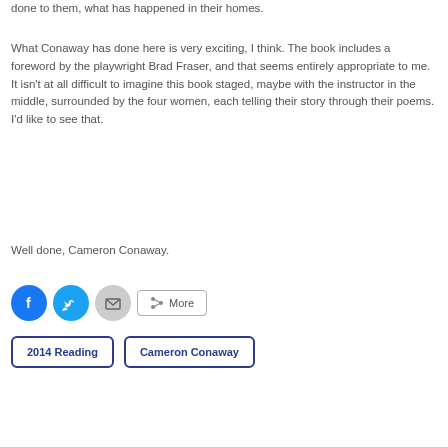done to them, what has happened in their homes.
What Conaway has done here is very exciting, I think. The book includes a foreword by the playwright Brad Fraser, and that seems entirely appropriate to me. It isn't at all difficult to imagine this book staged, maybe with the instructor in the middle, surrounded by the four women, each telling their story through their poems. I'd like to see that.
Well done, Cameron Conaway.
[Figure (infographic): Social share buttons: Facebook (blue circle), Twitter (blue circle), Email (gray circle), and a More button with share icon]
2014 Reading
Cameron Conaway